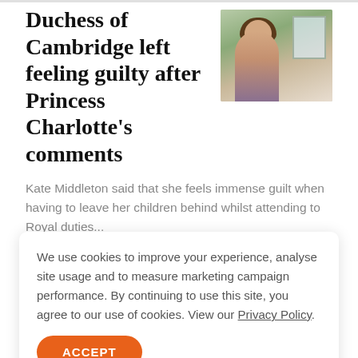Duchess of Cambridge left feeling guilty after Princess Charlotte's comments
[Figure (photo): Photo of Kate Middleton sitting near a window]
Kate Middleton said that she feels immense guilt when having to leave her children behind whilst attending to Royal duties...
We use cookies to improve your experience, analyse site usage and to measure marketing campaign performance. By continuing to use this site, you agree to our use of cookies. View our Privacy Policy.
ACCEPT
Two women in positions of power reflect on Mother's Day